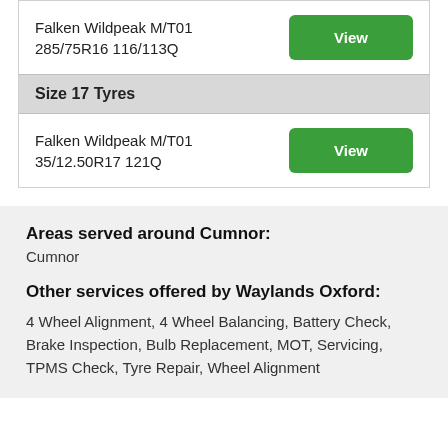Falken Wildpeak M/T01
285/75R16 116/113Q
View
Size 17 Tyres
Falken Wildpeak M/T01
35/12.50R17 121Q
View
Areas served around Cumnor:
Cumnor
Other services offered by Waylands Oxford:
4 Wheel Alignment, 4 Wheel Balancing, Battery Check, Brake Inspection, Bulb Replacement, MOT, Servicing, TPMS Check, Tyre Repair, Wheel Alignment